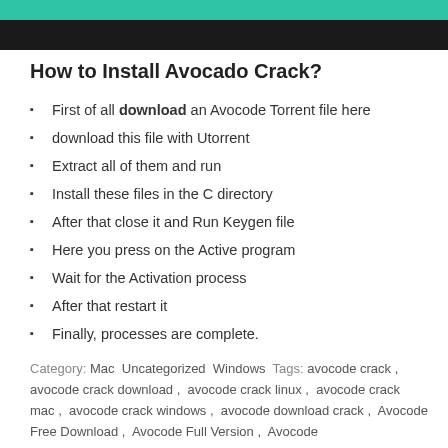[Figure (other): Header with teal green strip on top and black bar below]
How to Install Avocado Crack?
First of all download an Avocode Torrent file here
download this file with Utorrent
Extract all of them and run
Install these files in the C directory
After that close it and Run Keygen file
Here you press on the Active program
Wait for the Activation process
After that restart it
Finally, processes are complete.
Category: Mac Uncategorized Windows Tags: avocode crack , avocode crack download , avocode crack linux , avocode crack mac , avocode crack windows , avocode download crack , Avocode Free Download , Avocode Full Version , Avocode